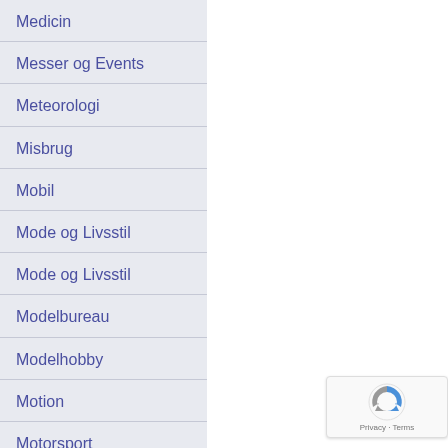Medicin
Messer og Events
Meteorologi
Misbrug
Mobil
Mode og Livsstil
Mode og Livsstil
Modelbureau
Modelhobby
Motion
Motorsport
[Figure (logo): reCAPTCHA badge with Privacy and Terms text]